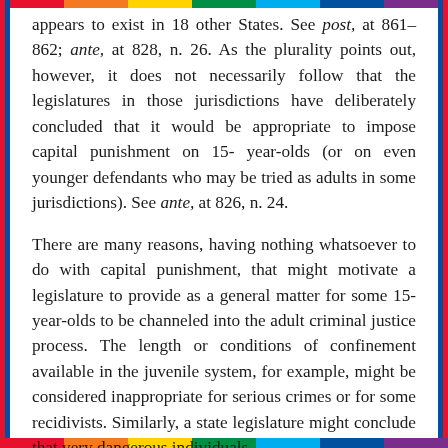appears to exist in 18 other States. See post, at 861–862; ante, at 828, n. 26. As the plurality points out, however, it does not necessarily follow that the legislatures in those jurisdictions have deliberately concluded that it would be appropriate to impose capital punishment on 15-year-olds (or on even younger defendants who may be tried as adults in some jurisdictions). See ante, at 826, n. 24.
There are many reasons, having nothing whatsoever to do with capital punishment, that might motivate a legislature to provide as a general matter for some 15-year-olds to be channeled into the adult criminal justice process. The length or conditions of confinement available in the juvenile system, for example, might be considered inappropriate for serious crimes or for some recidivists. Similarly, a state legislature might conclude that very dangerous individuals, whatever their age, should not be confined in the